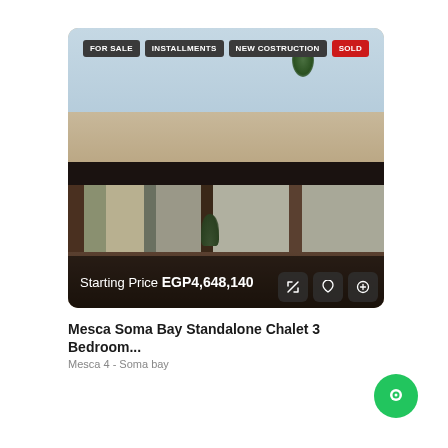[Figure (photo): Exterior photo of a modern standalone chalet/villa with a flat roof, large glass windows with white curtains, patio furniture including a table and chairs, potted plants, and a palm tree in the background. Tags overlaid: FOR SALE, INSTALLMENTS, NEW COSTRUCTION, SOLD. Bottom bar shows Starting Price EGP4,648,140 with action icons.]
Mesca Soma Bay Standalone Chalet 3 Bedroom...
Mesca 4 - Soma bay